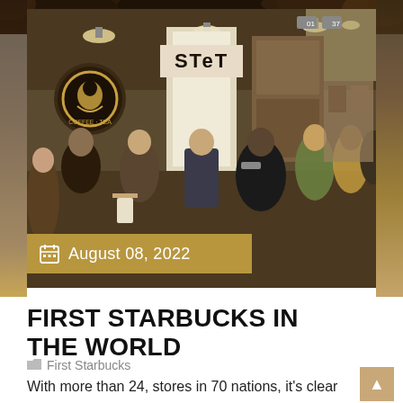[Figure (photo): Interior of the first Starbucks store with people standing in line. The Starbucks logo is visible on the wall, and a sign reading 'STET' or similar is above the entrance. Multiple customers are visible inside the crowded store.]
August 08, 2022
FIRST STARBUCKS IN THE WORLD
First Starbucks
With more than 24, stores in 70 nations, it's clear that our enthusiasm for great coffee, real solution and community link transcends language and culture. We